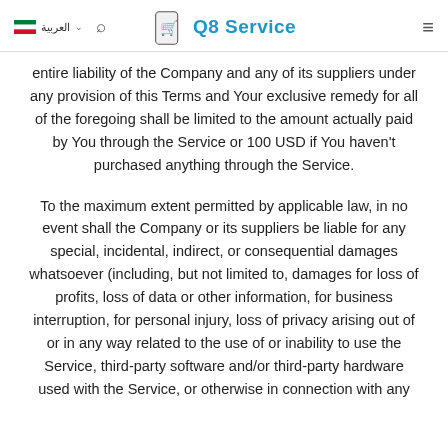العربية | Q8 Service
entire liability of the Company and any of its suppliers under any provision of this Terms and Your exclusive remedy for all of the foregoing shall be limited to the amount actually paid by You through the Service or 100 USD if You haven't purchased anything through the Service.
To the maximum extent permitted by applicable law, in no event shall the Company or its suppliers be liable for any special, incidental, indirect, or consequential damages whatsoever (including, but not limited to, damages for loss of profits, loss of data or other information, for business interruption, for personal injury, loss of privacy arising out of or in any way related to the use of or inability to use the Service, third-party software and/or third-party hardware used with the Service, or otherwise in connection with any